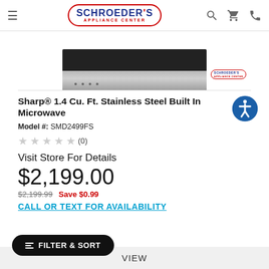Schroeder's Appliance Center
[Figure (photo): Sharp built-in microwave product image, stainless steel, top-down view showing front panel]
Sharp® 1.4 Cu. Ft. Stainless Steel Built In Microwave
Model #: SMD2499FS
★★★★★ (0)
Visit Store For Details
$2,199.00
$2,199.99  Save $0.99
CALL OR TEXT FOR AVAILABILITY
VIEW